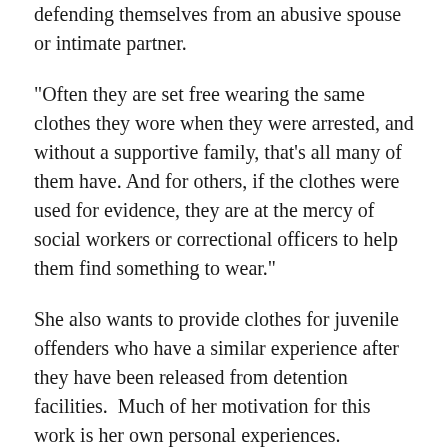defending themselves from an abusive spouse or intimate partner.
"Often they are set free wearing the same clothes they wore when they were arrested, and without a supportive family, that's all many of them have. And for others, if the clothes were used for evidence, they are at the mercy of social workers or correctional officers to help them find something to wear."
She also wants to provide clothes for juvenile offenders who have a similar experience after they have been released from detention facilities.  Much of her motivation for this work is her own personal experiences.
"I ran out of the house in the t-shirt I had on and knocked on the first door where there was a light," she said as she recalled escaping an abusive relationship.  "That person let me in, called the police and gave me clothes to wear. I want to help others,